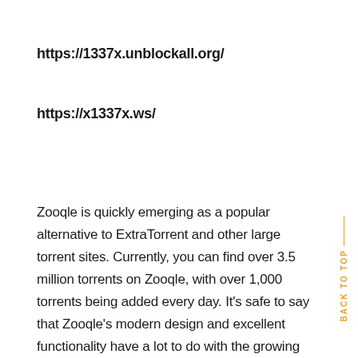https://1337x.unblockall.org/
https://x1337x.ws/
Zooqle is quickly emerging as a popular alternative to ExtraTorrent and other large torrent sites. Currently, you can find over 3.5 million torrents on Zooqle, with over 1,000 torrents being added every day. It's safe to say that Zooqle's modern design and excellent functionality have a lot to do with the growing popularity of the site.
Right on the homepage, you can see what the most